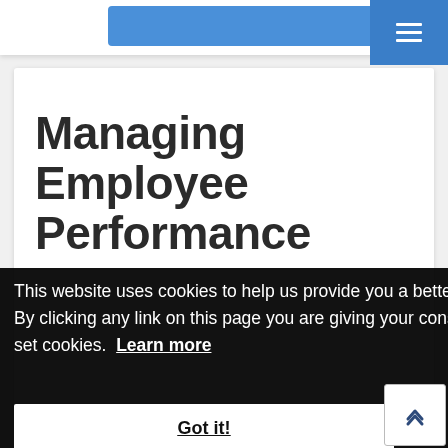Managing Employee Performance
This website uses cookies to help us provide you a better experience. By clicking any link on this page you are giving your consent for us to set cookies.  Learn more
Got it!